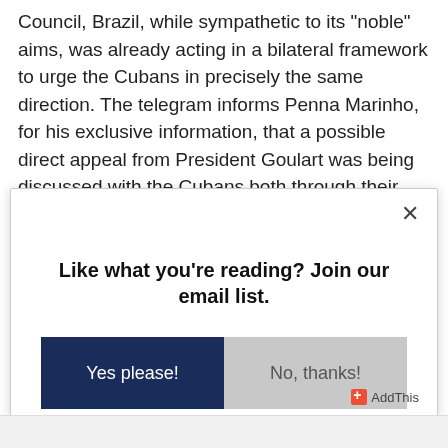Council, Brazil, while sympathetic to its "noble" aims, was already acting in a bilateral framework to urge the Cubans in precisely the same direction. The telegram informs Penna Marinho, for his exclusive information, that a possible direct appeal from President Goulart was being discussed with the Cubans both through their embassy in Rio de Janeiro and Brazil's embassy in Havana.
[Figure (other): Modal dialog popup with close button (×), heading 'Like what you're reading? Join our email list.', and two buttons: 'Yes please!' (dark navy) and 'No, thanks!' (light gray). AddThis branding in bottom right corner.]